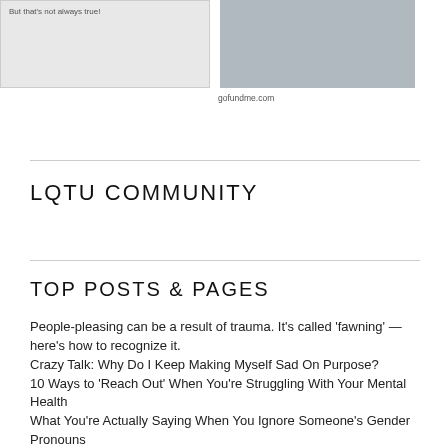[Figure (screenshot): Screenshot of a webpage with text 'But that's not always true!']
[Figure (photo): Photo of people walking dogs on a crosswalk, with gofundme.com label beneath]
LQTU COMMUNITY
TOP POSTS & PAGES
People-pleasing can be a result of trauma. It's called 'fawning' — here's how to recognize it.
Crazy Talk: Why Do I Keep Making Myself Sad On Purpose?
10 Ways to 'Reach Out' When You're Struggling With Your Mental Health
What You're Actually Saying When You Ignore Someone's Gender Pronouns
Binding While Broke: I Tried All These Cheap(ish) Chest Binders so You Don't Have To!